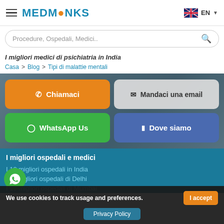MEDMONKS
Procedure, Ospedali, Medici..
I migliori medici di psichiatria in India
Casa > Blog > Tipi di malattie mentali
[Figure (screenshot): CTA buttons section with dark background showing: Chiamaci (orange), Mandaci una email (light gray), WhatsApp Us (green), Dove siamo (blue)]
I migliori ospedali e medici
I 10 migliori ospedali in India
I ... migliori ospedali di Delhi
I 10 migliori ospedali di Mumbai
We use cookies to track usage and preferences.
I accept
Privacy Policy